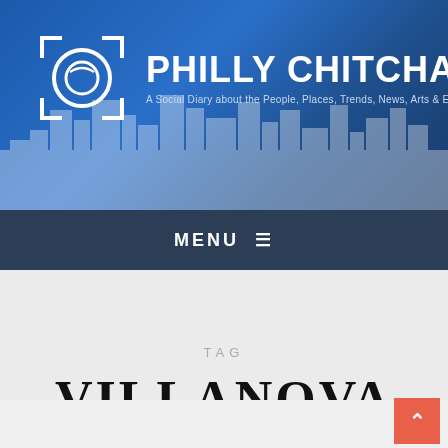[Figure (logo): Philly Chitchat website header banner with blue city skyline background, circular camera logo icon, site title PHILLY CHITCHAT and subtitle A Social Diary about the People, Places, Trends, News, Arts & Events]
MENU ☰
TAG
VILLANOVA